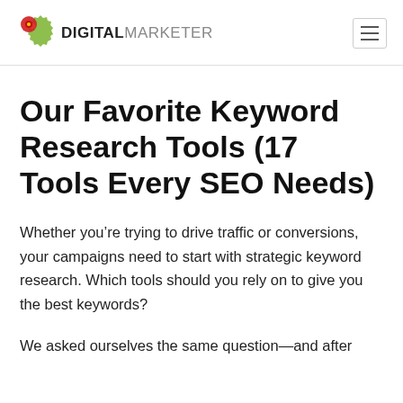DIGITALMARKETER
Our Favorite Keyword Research Tools (17 Tools Every SEO Needs)
Whether you’re trying to drive traffic or conversions, your campaigns need to start with strategic keyword research. Which tools should you rely on to give you the best keywords?
We asked ourselves the same question—and after